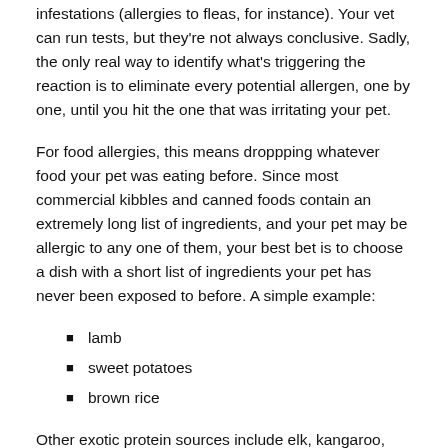infestations (allergies to fleas, for instance). Your vet can run tests, but they're not always conclusive. Sadly, the only real way to identify what's triggering the reaction is to eliminate every potential allergen, one by one, until you hit the one that was irritating your pet.
For food allergies, this means droppping whatever food your pet was eating before. Since most commercial kibbles and canned foods contain an extremely long list of ingredients, and your pet may be allergic to any one of them, your best bet is to choose a dish with a short list of ingredients your pet has never been exposed to before. A simple example:
lamb
sweet potatoes
brown rice
Other exotic protein sources include elk, kangaroo, emu, rabbit, etc. These can be found at natural pet boutiques, either in kibbles and cans, or even better, frozen raw. If